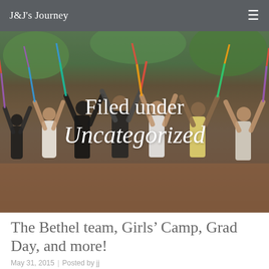J&J's Journey
[Figure (photo): Group of young women with their backs to the camera, arms raised holding colorful ribbon flags/wands, wearing summer dresses and casual outfits, standing on a red dirt ground with trees in the background. Dark overlay with text 'Filed under Uncategorized' overlaid on the image.]
The Bethel team, Girls' Camp, Grad Day, and more!
May 31, 2015  |  Posted by jj